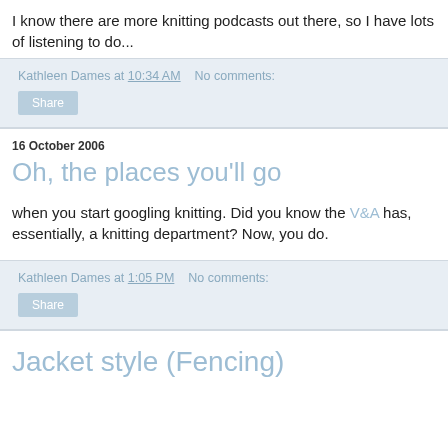I know there are more knitting podcasts out there, so I have lots of listening to do...
Kathleen Dames at 10:34 AM   No comments:
Share
16 October 2006
Oh, the places you'll go
when you start googling knitting. Did you know the V&A has, essentially, a knitting department? Now, you do.
Kathleen Dames at 1:05 PM   No comments:
Share
Jacket style (Fencing)